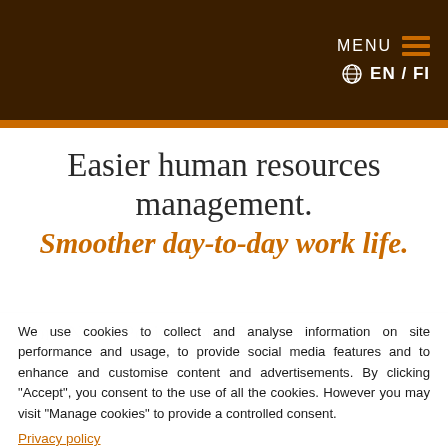MENU   EN / FI
Easier human resources management.
Smoother day-to-day work life.
We use cookies to collect and analyse information on site performance and usage, to provide social media features and to enhance and customise content and advertisements. By clicking “Accept”, you consent to the use of all the cookies. However you may visit “Manage cookies” to provide a controlled consent.
Privacy policy
Accept   Deny   Manage cookies